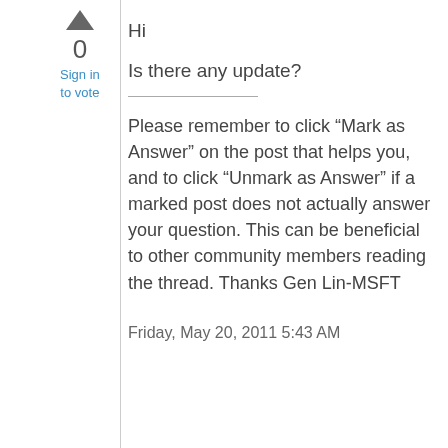[Figure (other): Upward-pointing triangle vote arrow icon]
0
Sign in
to vote
Hi
Is there any update?
Please remember to click “Mark as Answer” on the post that helps you, and to click “Unmark as Answer” if a marked post does not actually answer your question. This can be beneficial to other community members reading the thread. Thanks Gen Lin-MSFT
Friday, May 20, 2011 5:43 AM